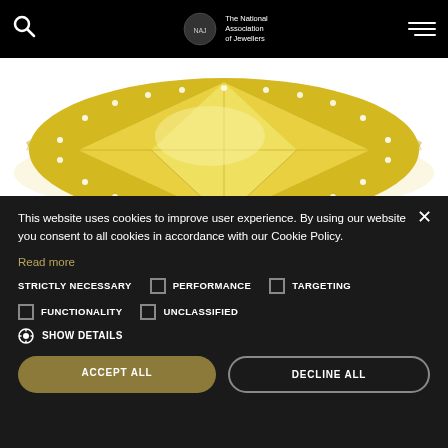The National Association of Jewellers
[Figure (photo): Close-up of a large marquise-cut yellow gemstone (citrine or yellow diamond) set in a gold ring surrounded by small diamonds, on a white background.]
This website uses cookies to improve user experience. By using our website you consent to all cookies in accordance with our Cookie Policy.
Read more
STRICTLY NECESSARY  PERFORMANCE  TARGETING  FUNCTIONALITY  UNCLASSIFIED
SHOW DETAILS
ACCEPT ALL
DECLINE ALL